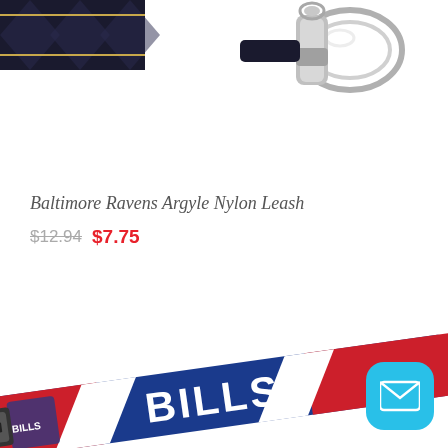[Figure (photo): Top portion of a Baltimore Ravens argyle nylon dog leash with metal clip/clasp visible against white background]
Baltimore Ravens Argyle Nylon Leash
$12.94 $7.75
[Figure (photo): Buffalo Bills dog collar in blue and red with 'BILLS' text and team logo, with mail/chat icon button overlay]